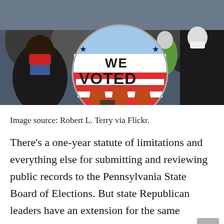[Figure (photo): Outdoor crowd scene with a person holding a large circular 'WE VOTED' button/badge featuring raised fists in red and white stripes on a blue and white background with stars. People in the background are wearing masks.]
Image source: Robert L. Terry via Flickr.
There's a one-year statute of limitations and everything else for submitting and reviewing public records to the Pennsylvania State Board of Elections. But state Republican leaders have an extension for the same records, according to a report in the